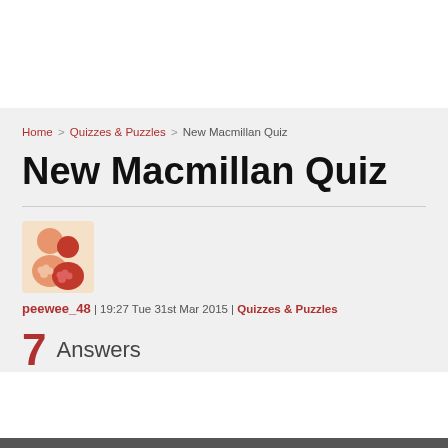Home > Quizzes & Puzzles > New Macmillan Quiz
New Macmillan Quiz
[Figure (illustration): User avatar icon showing two stylized people figures in orange/red tones]
peewee_48 | 19:27 Tue 31st Mar 2015 | Quizzes & Puzzles
7 Answers